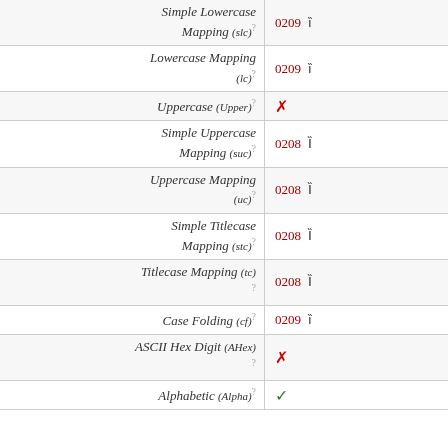| Property | Value |
| --- | --- |
| Simple Lowercase Mapping (slc) ? | 0209 ȉ |
| Lowercase Mapping (lc) ? | 0209 ȉ |
| Uppercase (Upper) ? | ✗ |
| Simple Uppercase Mapping (suc) ? | 0208 Ȉ |
| Uppercase Mapping (uc) ? | 0208 Ȉ |
| Simple Titlecase Mapping (stc) ? | 0208 Ȉ |
| Titlecase Mapping (tc) ? | 0208 Ȉ |
| Case Folding (cf) ? | 0209 ȉ |
| ASCII Hex Digit (AHex) ? | ✗ |
| Alphabetic (Alpha) ? | ✓ |